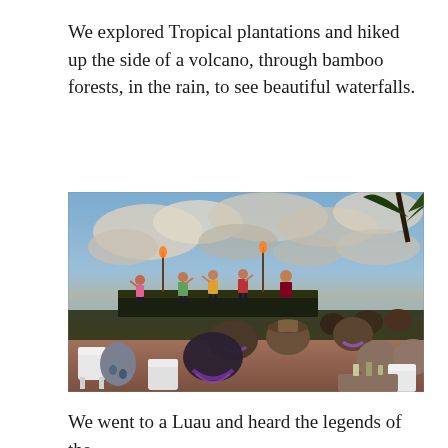We explored Tropical plantations and hiked up the side of a volcano, through bamboo forests, in the rain, to see beautiful waterfalls.
[Figure (photo): Outdoor luau scene at sunset. Hula dancers performing on a stage with torches, audience seated at tables in the foreground wearing leis. Dramatic cloudy sky with warm golden light over the ocean horizon. Palm tree visible in upper right corner.]
We went to a Luau and heard the legends of the